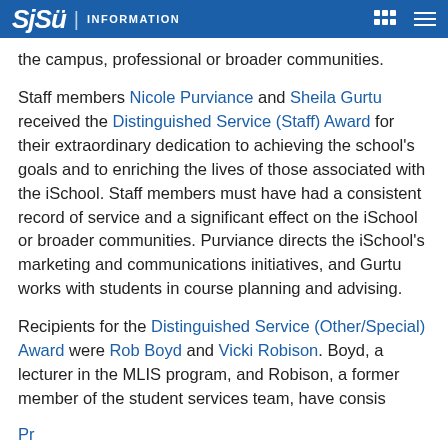SJSU | INFORMATION
the campus, professional or broader communities.
Staff members Nicole Purviance and Sheila Gurtu received the Distinguished Service (Staff) Award for their extraordinary dedication to achieving the school's goals and to enriching the lives of those associated with the iSchool. Staff members must have had a consistent record of service and a significant effect on the iSchool or broader communities. Purviance directs the iSchool's marketing and communications initiatives, and Gurtu works with students in course planning and advising.
Recipients for the Distinguished Service (Other/Special) Award were Rob Boyd and Vicki Robison. Boyd, a lecturer in the MLIS program, and Robison, a former member of the student services team, have consistently provided exemplary service to the school beyond normal responsibilities.